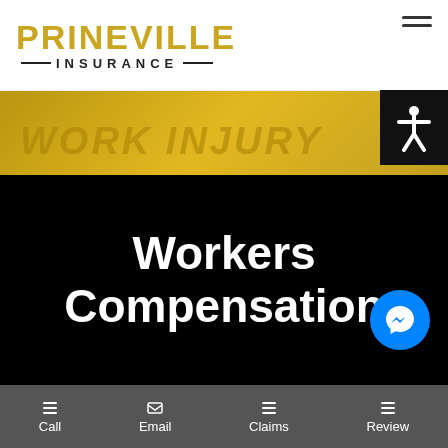PRINEVILLE INSURANCE
[Figure (screenshot): Yellow/gold background with 'WORK INJURY' text visible, representing a workers compensation insurance webpage hero image]
Workers Compensation
Call  Email  Claims  Review